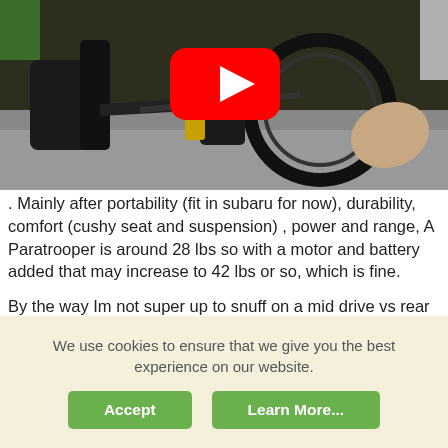[Figure (screenshot): YouTube video thumbnail showing a folding electric bicycle laid on its side outdoors, with a person's hand visible. A YouTube play button overlay is centered on the image.]
. Mainly after portability (fit in subaru for now), durability, comfort (cushy seat and suspension) , power and range, A Paratrooper is around 28 lbs so with a motor and battery added that may increase to 42 lbs or so, which is fine.
By the way Im not super up to snuff on a mid drive vs rear motor and the pros and cons of each setup, if anyone cares to elucidate.
Art Deco
We use cookies to ensure that we give you the best experience on our website.
Accept
Learn More...